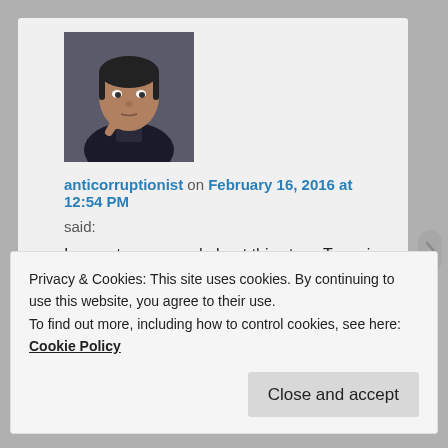[Figure (photo): Profile photo of a man with dark hair, resting his chin on his hand, seated in front of a dark chair background.]
anticorruptionist on February 16, 2016 at 12:54 PM
said:
I cannot say a word about this story. Tears in my eyes…
★ Liked by 1 person
Reply ↓
Privacy & Cookies: This site uses cookies. By continuing to use this website, you agree to their use.
To find out more, including how to control cookies, see here: Cookie Policy
Close and accept